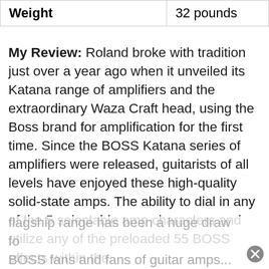| Weight | 32 pounds |
| --- | --- |
My Review: Roland broke with tradition just over a year ago when it unveiled its Katana range of amplifiers and the extraordinary Waza Craft head, using the Boss brand for amplification for the first time. Since the BOSS Katana series of amplifiers were released, guitarists of all levels have enjoyed these high-quality solid-state amps. The ability to dial in any of the 5 selectable amp characters and utilize any of the preloaded 55 BOSS effects within the
flagship range has been a huge draw fo BOSS fans and fans of guitar amps...